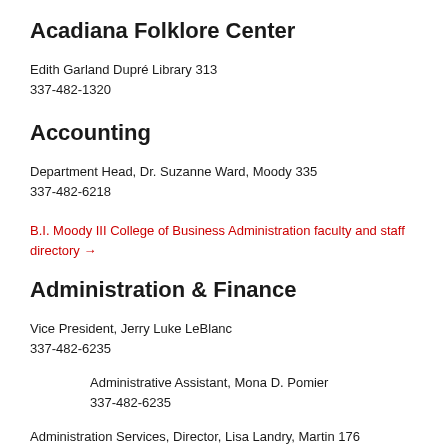Acadiana Folklore Center
Edith Garland Dupré Library 313
337-482-1320
Accounting
Department Head, Dr. Suzanne Ward, Moody 335
337-482-6218
B.I. Moody III College of Business Administration faculty and staff directory →
Administration & Finance
Vice President, Jerry Luke LeBlanc
337-482-6235
Administrative Assistant, Mona D. Pomier
337-482-6235
Administration Services, Director, Lisa Landry, Martin 176